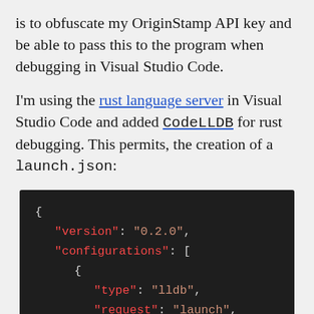is to obfuscate my OriginStamp API key and be able to pass this to the program when debugging in Visual Studio Code.
I'm using the rust language server in Visual Studio Code and added CodeLLDB for rust debugging. This permits, the creation of a launch.json:
[Figure (screenshot): Dark-themed code editor screenshot showing a launch.json file with JSON content: { "version": "0.2.0", "configurations": [ { "type": "lldb", "request": "launch", "name": "Debug", } ] }]